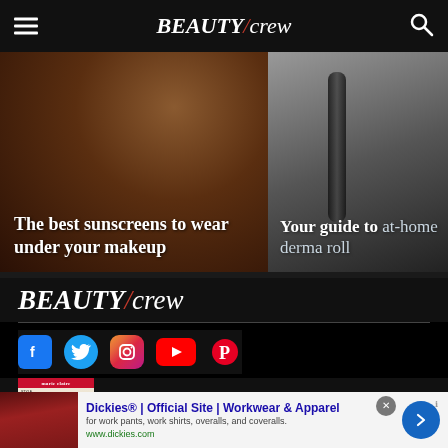BEAUTY/crew navigation bar with hamburger menu and search icon
[Figure (photo): Article card showing hair close-up with text overlay 'The best sunscreens to wear under your makeup']
[Figure (photo): Article card showing derma roller product with text 'Your guide to at-home derma roll']
[Figure (logo): BEAUTY/crew logo in white on black background]
[Figure (infographic): Social media icons: Facebook, Twitter, Instagram, YouTube, Pinterest]
[Figure (photo): Marie Claire magazine cover thumbnail with red bar]
[Figure (screenshot): Advertisement banner: Dickies Official Site Workwear & Apparel, for work pants, work shirts, overalls, and coveralls. www.dickies.com]